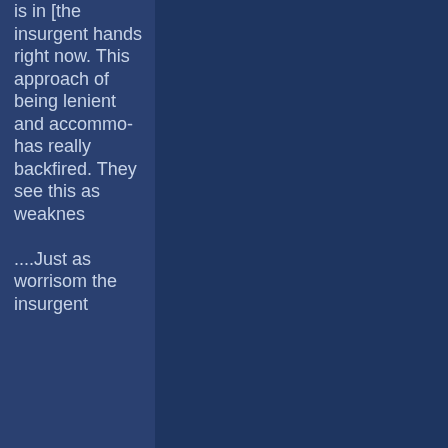is in [the insurgent hands right now. This approach of being lenient and accommodating has really backfired. They see this as weakness. ....Just as worrisome the insurgent